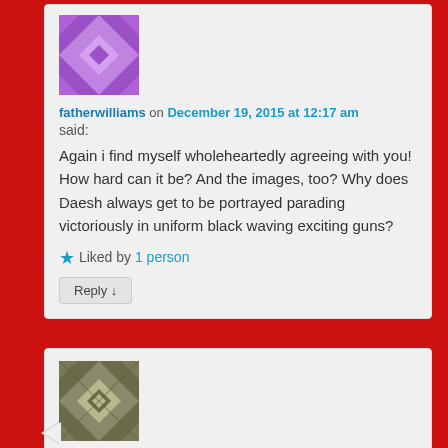[Figure (illustration): Purple geometric avatar for user fatherwilliams]
fatherwilliams on December 19, 2015 at 12:17 am
said:
Again i find myself wholeheartedly agreeing with you! How hard can it be? And the images, too? Why does Daesh always get to be portrayed parading victoriously in uniform black waving exciting guns?
★ Liked by 1 person
Reply ↓
[Figure (illustration): Olive/green geometric avatar for user Helen]
Helen on December 19, 2015 at 8:11 pm said: